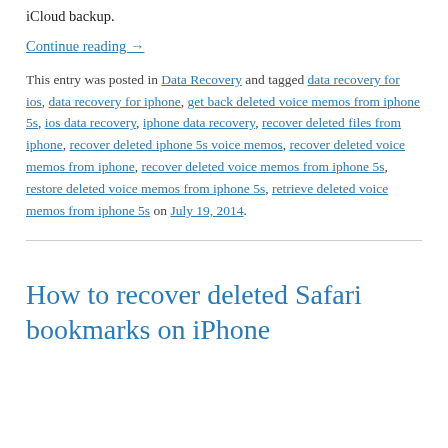iCloud backup.
Continue reading →
This entry was posted in Data Recovery and tagged data recovery for ios, data recovery for iphone, get back deleted voice memos from iphone 5s, ios data recovery, iphone data recovery, recover deleted files from iphone, recover deleted iphone 5s voice memos, recover deleted voice memos from iphone, recover deleted voice memos from iphone 5s, restore deleted voice memos from iphone 5s, retrieve deleted voice memos from iphone 5s on July 19, 2014.
How to recover deleted Safari bookmarks on iPhone